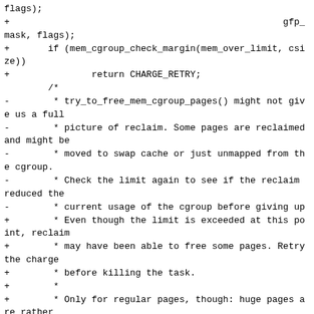flags);
+                                                  gfp_mask, flags);
+       if (mem_cgroup_check_margin(mem_over_limit, csize))
+               return CHARGE_RETRY;
        /*
-        * try_to_free_mem_cgroup_pages() might not give us a full
-        * picture of reclaim. Some pages are reclaimed and might be
-        * moved to swap cache or just unmapped from the cgroup.
-        * Check the limit again to see if the reclaim reduced the
-        * current usage of the cgroup before giving up
+        * Even though the limit is exceeded at this point, reclaim
+        * may have been able to free some pages. Retry the charge
+        * before killing the task.
+        *
+        * Only for regular pages, though: huge pages are rather
+        * unlikely to succeed so close to the limit, and we fall back
+        * to regular pages anyway in case of failure.
        */
-       if (ret ||
mem_cgroup_check_under_limit(mem_over_limit))